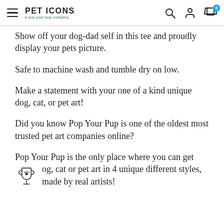PET ICONS a pop your pup company
Show off your dog-dad self in this tee and proudly display your pets picture.
Safe to machine wash and tumble dry on low.
Make a statement with your one of a kind unique dog, cat, or pet art!
Did you know Pop Your Pup is one of the oldest most trusted pet art companies online?
Pop Your Pup is the only place where you can get dog, cat or pet art in 4 unique different styles, made by real artists!
[Figure (illustration): Trophy icon with paw print]